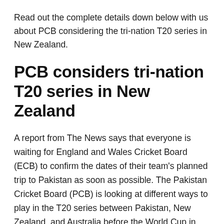Read out the complete details down below with us about PCB considering the tri-nation T20 series in New Zealand.
PCB considers tri-nation T20 series in New Zealand
A report from The News says that everyone is waiting for England and Wales Cricket Board (ECB) to confirm the dates of their team's planned trip to Pakistan as soon as possible. The Pakistan Cricket Board (PCB) is looking at different ways to play in the T20 series between Pakistan, New Zealand, and Australia before the World Cup in October.